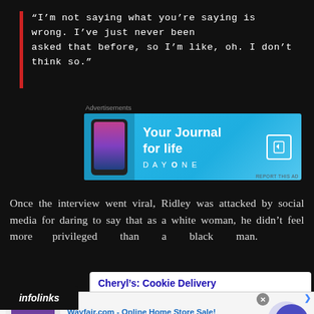“I’m not saying what you’re saying is wrong. I’ve just never been asked that before, so I’m like, oh. I don’t think so.”
[Figure (screenshot): Advertisement banner for Day One journal app with cyan gradient background and phone image. Text reads: Your Journal for life. DAYONE logo.]
Once the interview went viral, Ridley was attacked by social media for daring to say that as a white woman, he didn’t feel more privileged than a black man.
[Figure (screenshot): Advertisement for Cheryl's Cookie Delivery with white background. Blue bold title: Cheryl's: Cookie Delivery. Description: we have an amazing variety of different. Infolinks badge visible.]
[Figure (screenshot): Bottom banner ad for Wayfair.com - Online Home Store Sale! with purple bedroom product thumbnail. Text: Shop for A Zillion Things Home across all styles at Wayfair! www.wayfair.com. Blue circular arrow button.]